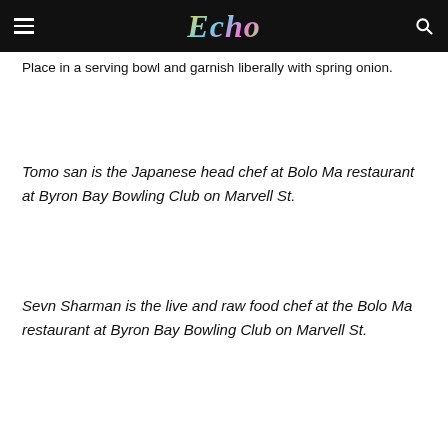Echo
Place in a serving bowl and garnish liberally with spring onion.
Tomo san is the Japanese head chef at Bolo Ma restaurant at Byron Bay Bowling Club on Marvell St.
Sevn Sharman is the live and raw food chef at the Bolo Ma restaurant at Byron Bay Bowling Club on Marvell St.